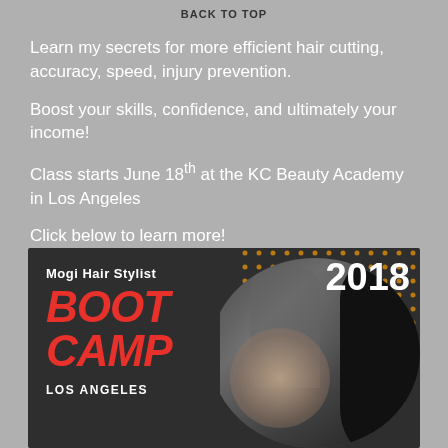BACK TO TOP
Learn my secrets for more efficient hair cutting, accuracy, speed, injury prevention.
Boost your skills, confidence, and ultimately your income!
Class starts June 18th at the KC Beauty Academy in Los Angeles
Click below to learn more!
[Figure (photo): Mogi Hair Stylist Boot Camp Los Angeles 2018 promotional banner with dark background, orange dot pattern, large red BOOT CAMP text, and circular photo of hairstylist working on a client]